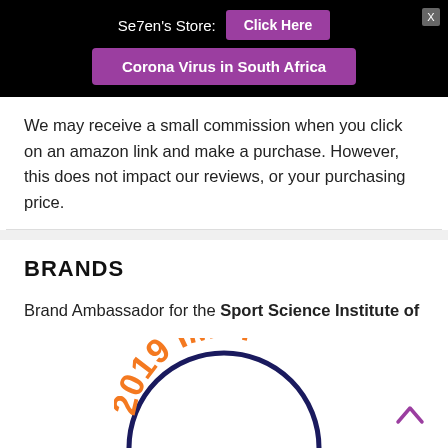Se7en's Store: Click Here | Corona Virus in South Africa
We may receive a small commission when you click on an amazon link and make a purchase. However, this does not impact our reviews, or your purchasing price.
BRANDS
Brand Ambassador for the Sport Science Institute of South Africa.
[Figure (logo): Partial circular badge/logo showing '2019 IMPI' text in orange arched letters with a dark blue circle arc below]